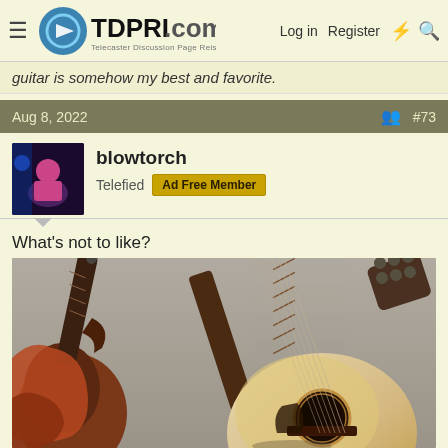TDPRI.com — Telecaster Discussion Page Reissue | Log in | Register
guitar is somehow my best and favorite.
Aug 8, 2022  #73
blowtorch
Telefied  Ad Free Member
What's not to like?
[Figure (photo): Photo of two acoustic guitars leaning against each other. Left guitar is a dark cutaway acoustic, right guitar is a natural-finish jumbo acoustic. Both show the fretboards and headstocks prominently. Background is light gray/beige studio backdrop.]